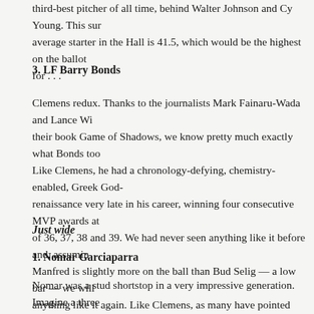third-best pitcher of all time, behind Walter Johnson and Cy Young. This sur... average starter in the Hall is 41.5, which would be the highest on the ballot ... for . . .
3. LF Barry Bonds
Clemens redux. Thanks to the journalists Mark Fainaru-Wada and Lance Wi... their book Game of Shadows, we know pretty much exactly what Bonds too... Like Clemens, he had a chronology-defying, chemistry-enabled, Greek God-... renaissance very late in his career, winning four consecutive MVP awards at... of 36, 37, 38 and 39. We had never seen anything like it before and, assumin... Manfred is slightly more on the ball than Bud Selig — a low bar — we will... anything like it again. Like Clemens, as many have pointed out, he was prob... of Famer before he started cheating, but those sportsmanship and integrity cr... established by the Hall don't have the luxury of time travel. His surplus to th... JAWS score of Hall of Fame left fielders is 64.3, a number almost as big as h... those days.
Just wide
1. Nomar Garciaparra
Nomar was a stud shortstop in a very impressive generation. Imagine a three... stretch in which rookies named Alex Rodriguez, Derek Jeter and Nomar Gar... enter the league playing the same position. The Red Sox made Nomar a first... pick, the 12th overall, in 1994. Three years later, he was rookie of the year, a... ...his MVP...